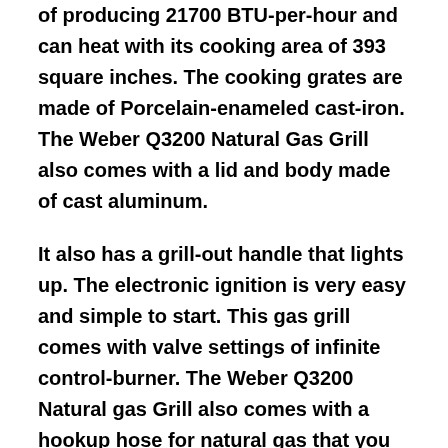of producing 21700 BTU-per-hour and can heat with its cooking area of 393 square inches. The cooking grates are made of Porcelain-enameled cast-iron. The Weber Q3200 Natural Gas Grill also comes with a lid and body made of cast aluminum.
It also has a grill-out handle that lights up. The electronic ignition is very easy and simple to start. This gas grill comes with valve settings of infinite control-burner. The Weber Q3200 Natural gas Grill also comes with a hookup hose for natural gas that you can easily attach to the line of natural gas of your home.
3. Lion Premium Gas Grills L75623